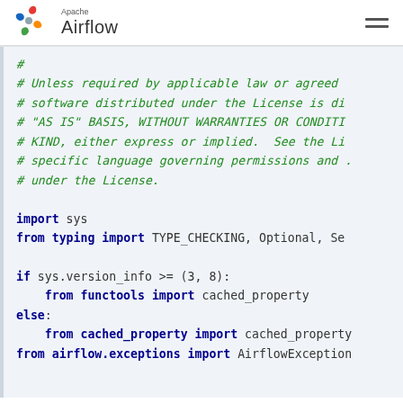[Figure (logo): Apache Airflow logo with pinwheel icon and text 'Apache Airflow']
# 
# Unless required by applicable law or agreed
# software distributed under the License is di
# "AS IS" BASIS, WITHOUT WARRANTIES OR CONDITI
# KIND, either express or implied.  See the Li
# specific language governing permissions and .
# under the License.

import sys
from typing import TYPE_CHECKING, Optional, Se

if sys.version_info >= (3, 8):
    from functools import cached_property
else:
    from cached_property import cached_property
from airflow.exceptions import AirflowException